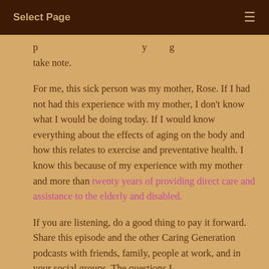Select Page
p ... take note.
For me, this sick person was my mother, Rose. If I had not had this experience with my mother, I don't know what I would be doing today. If I would know everything about the effects of aging on the body and how this relates to exercise and preventative health. I know this because of my experience with my mother and more than twenty years of providing direct care and assistance to the elderly and disabled.
If you are listening, do a good thing to pay it forward. Share this episode and the other Caring Generation podcasts with friends, family, people at work, and in your social groups. The questions I